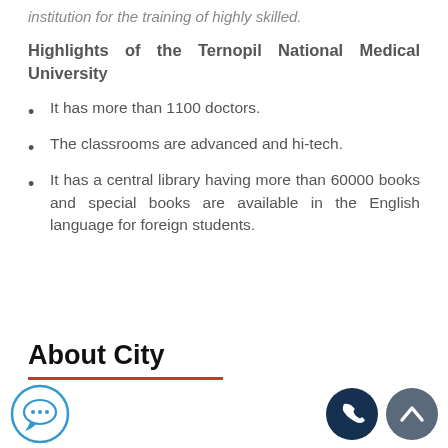institution for the training of highly skilled.
Highlights of the Ternopil National Medical University
It has more than 1100 doctors.
The classrooms are advanced and hi-tech.
It has a central library having more than 60000 books and special books are available in the English language for foreign students.
About City
[Figure (illustration): Chat bubble icon (circular, blue outline), phone call icon (dark navy circle with white phone), and up-arrow icon (dark grey circle with white chevron up) — website UI elements at the bottom of the page.]